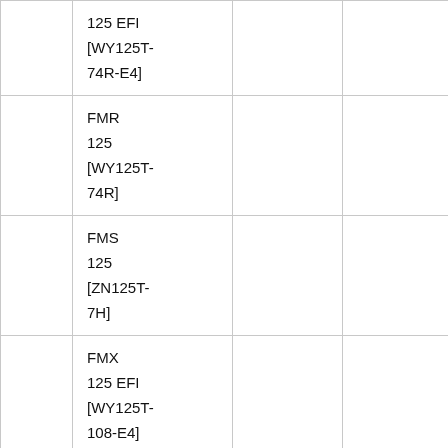|  | 125 EFI
[WY125T-74R-E4] |  |  |
|  | FMR 125
[WY125T-74R] |  |  |
|  | FMS 125
[ZN125T-7H] |  |  |
|  | FMX 125 EFI
[WY125T-108-E4] |  |  |
|  | FMX |  |  |